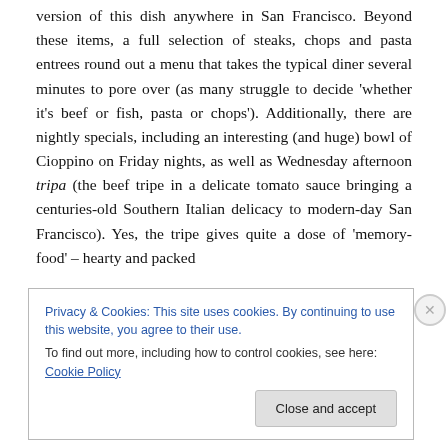version of this dish anywhere in San Francisco. Beyond these items, a full selection of steaks, chops and pasta entrees round out a menu that takes the typical diner several minutes to pore over (as many struggle to decide 'whether it's beef or fish, pasta or chops'). Additionally, there are nightly specials, including an interesting (and huge) bowl of Cioppino on Friday nights, as well as Wednesday afternoon tripa (the beef tripe in a delicate tomato sauce bringing a centuries-old Southern Italian delicacy to modern-day San Francisco). Yes, the tripe gives quite a dose of 'memory-food' – hearty and packed
Privacy & Cookies: This site uses cookies. By continuing to use this website, you agree to their use.
To find out more, including how to control cookies, see here: Cookie Policy